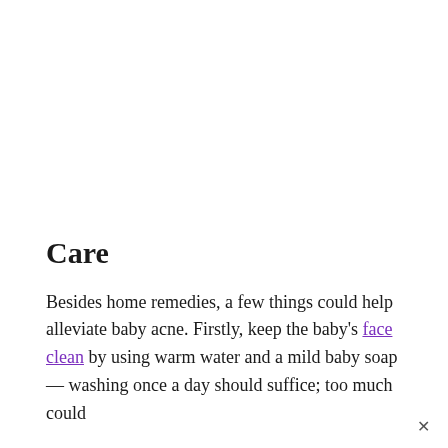Care
Besides home remedies, a few things could help alleviate baby acne. Firstly, keep the baby's face clean by using warm water and a mild baby soap — washing once a day should suffice; too much could